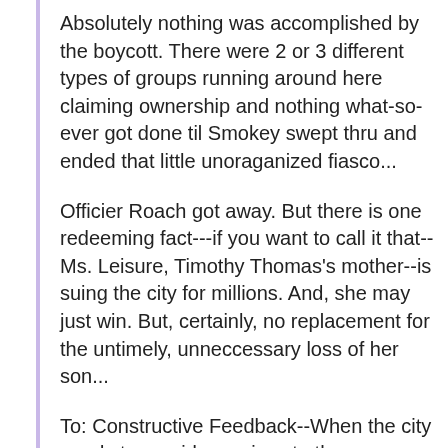Absolutely nothing was accomplished by the boycott. There were 2 or 3 different types of groups running around here claiming ownership and nothing what-so-ever got done til Smokey swept thru and ended that little unoraganized fiasco...
Officier Roach got away. But there is one redeeming fact---if you want to call it that--Ms. Leisure, Timothy Thomas's mother--is suing the city for millions. And, she may just win. But, certainly, no replacement for the untimely, unneccessary loss of her son...
To: Constructive Feedback--When the city needs to provide services to the unfortunate how much does the absence of this money that would have been collected from tax revenues appear as the absent fill but you would have done if you had...